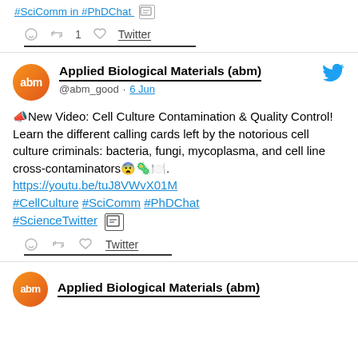#SciComm in #PhDChat [image icon]
comment icon  retweet 1  heart  Twitter
Applied Biological Materials (abm) @abm_good · 6 Jun
📣New Video: Cell Culture Contamination & Quality Control! Learn the different calling cards left by the notorious cell culture criminals: bacteria, fungi, mycoplasma, and cell line cross-contaminators😨🦠🧫. https://youtu.be/tuJ8VWvX01M #CellCulture #SciComm #PhDChat #ScienceTwitter [image icon]
comment icon  retweet  heart  Twitter
Applied Biological Materials (abm)